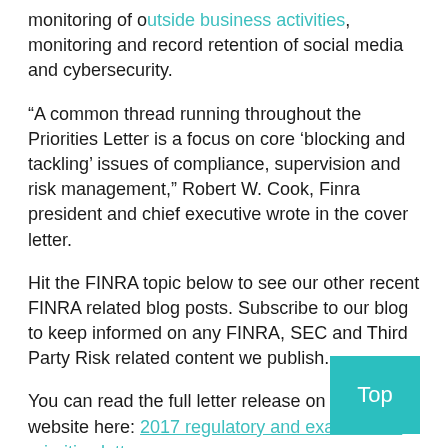monitoring of outside business activities, monitoring and record retention of social media and cybersecurity.
“A common thread running throughout the Priorities Letter is a focus on core ‘blocking and tackling’ issues of compliance, supervision and risk management,” Robert W. Cook, Finra president and chief executive wrote in the cover letter.
Hit the FINRA topic below to see our other recent FINRA related blog posts. Subscribe to our blog to keep informed on any FINRA, SEC and Third Party Risk related content we publish.
You can read the full letter release on FINRA’s website here: 2017 regulatory and examination priorities letter